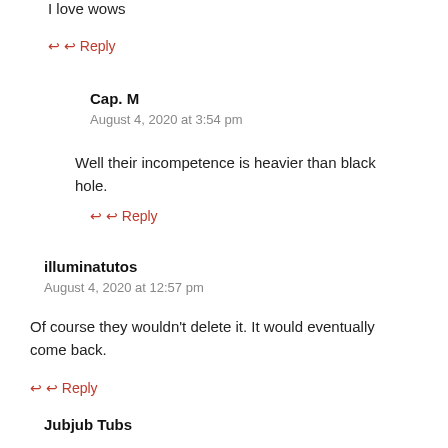I love wows
↩ Reply
Cap. M
August 4, 2020 at 3:54 pm
Well their incompetence is heavier than black hole.
↩ Reply
illuminatutos
August 4, 2020 at 12:57 pm
Of course they wouldn't delete it. It would eventually come back.
↩ Reply
Jubjub Tubs